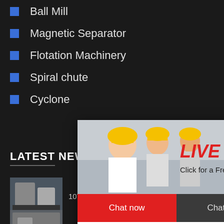Ball Mill
Magnetic Separator
Flotation Machinery
Spiral chute
Cyclone
[Figure (screenshot): Live chat popup overlay with workers in hard hats, red LIVE CHAT text, 'Click for a Free Consultation', Chat now and Chat later buttons]
[Figure (screenshot): Right sidebar with blue background, smiley face with headset, '7 hours online', 'Click me to chat >>' button, Enquiry section, cywaitml@gmail.com]
LATEST NEWS
10TPH Limestone Grinding
1TPH Calcite Grinding Plant